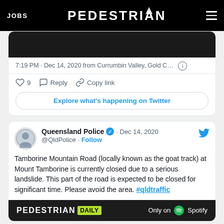JOBS | PEDESTRIAN | [menu]
7:19 PM · Dec 14, 2020 from Currumbin Valley, Gold C...
♡ 9   Reply   Copy link
Explore what's happening on Twitter
Queensland Police · Dec 14, 2020
@QldPolice · Follow
Tamborine Mountain Road (locally known as the goat track) at Mount Tamborine is currently closed due to a serious landslide. This part of the road is expected to be closed for significant time. Please avoid the area. #qldtraffic
[Figure (screenshot): PEDESTRIAN DAILY Only on Spotify — advertisement banner]